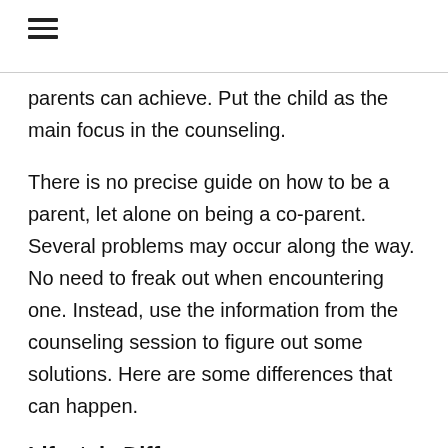≡
parents can achieve. Put the child as the main focus in the counseling.
There is no precise guide on how to be a parent, let alone on being a co-parent. Several problems may occur along the way. No need to freak out when encountering one. Instead, use the information from the counseling session to figure out some solutions. Here are some differences that can happen.
Lifestyle Differences
A couple comes from two different families. Even when they have a similar history, but essentially they